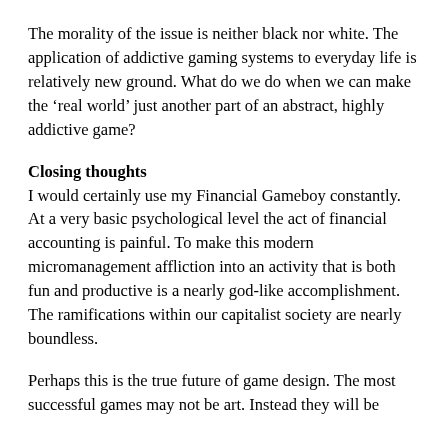The morality of the issue is neither black nor white. The application of addictive gaming systems to everyday life is relatively new ground. What do we do when we can make the ‘real world’ just another part of an abstract, highly addictive game?
Closing thoughts
I would certainly use my Financial Gameboy constantly. At a very basic psychological level the act of financial accounting is painful. To make this modern micromanagement affliction into an activity that is both fun and productive is a nearly god-like accomplishment. The ramifications within our capitalist society are nearly boundless.
Perhaps this is the true future of game design. The most successful games may not be art. Instead they will be